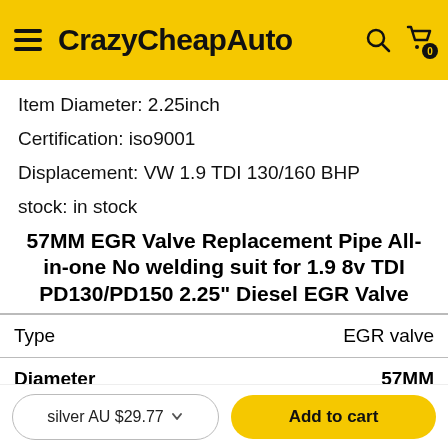CrazyCheapAuto
Item Diameter: 2.25inch
Certification: iso9001
Displacement: VW 1.9 TDI 130/160 BHP
stock: in stock
57MM EGR Valve Replacement Pipe All-in-one No welding suit for 1.9 8v TDI PD130/PD150 2.25" Diesel EGR Valve
| Type | EGR valve |
| --- | --- |
| Diameter | 57MM |
| Material | Aluminum |
silver AU $29.77  Add to cart